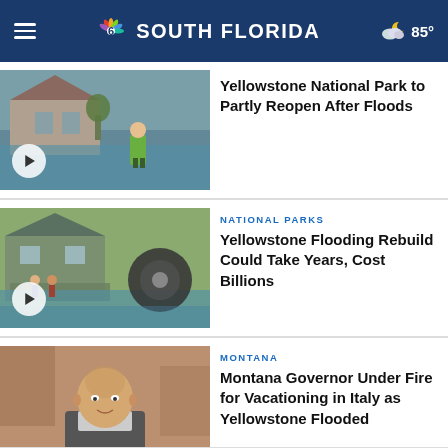NBC 6 SOUTH FLORIDA | 85°
Yellowstone National Park to Partly Reopen After Floods
NATIONAL PARKS
Yellowstone Flooding Rebuild Could Take Years, Cost Billions
MONTANA
Montana Governor Under Fire for Vacationing in Italy as Yellowstone Flooded